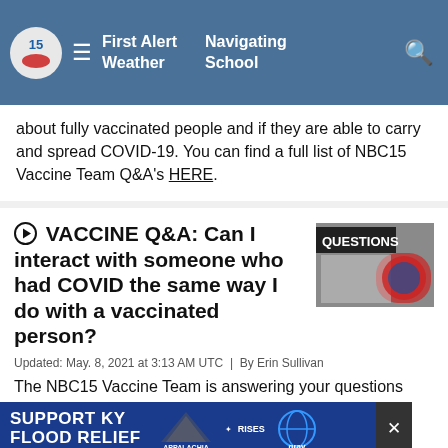First Alert Weather | Navigating School
about fully vaccinated people and if they are able to carry and spread COVID-19. You can find a full list of NBC15 Vaccine Team Q&A's HERE.
VACCINE Q&A: Can I interact with someone who had COVID the same way I do with a vaccinated person?
[Figure (photo): Image with text 'QUESTIONS' overlay, showing stickers and papers]
Updated: May. 8, 2021 at 3:13 AM UTC  |  By Erin Sullivan
The NBC15 Vaccine Team is answering your questions about interacting with those who are vaccinated versus those who are unvaccinated. You can find a full list of NBC1
[Figure (infographic): Ad banner: SUPPORT KY FLOOD RELIEF - Appalachia Rises - Gray logo]